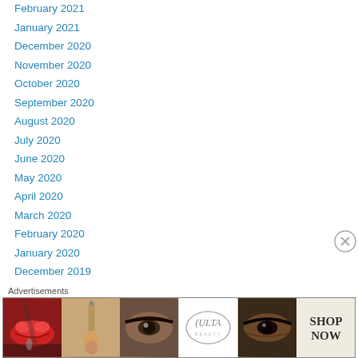February 2021
January 2021
December 2020
November 2020
October 2020
September 2020
August 2020
July 2020
June 2020
May 2020
April 2020
March 2020
February 2020
January 2020
December 2019
November 2019
October 2019
Advertisements
[Figure (illustration): Ulta Beauty advertisement banner showing makeup imagery: lips with red lipstick, makeup brush, eye with mascara, Ulta Beauty logo, smoky eye close-up, and SHOP NOW call to action]